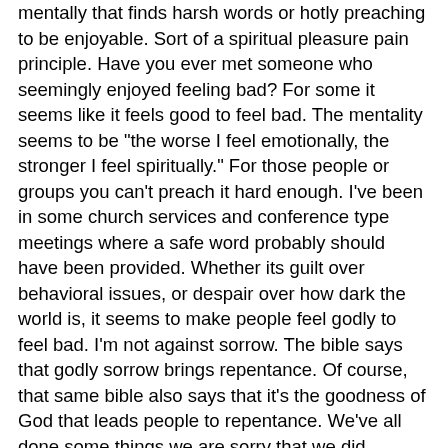mentally that finds harsh words or hotly preaching to be enjoyable. Sort of a spiritual pleasure pain principle. Have you ever met someone who seemingly enjoyed feeling bad? For some it seems like it feels good to feel bad. The mentality seems to be "the worse I feel emotionally, the stronger I feel spiritually." For those people or groups you can't preach it hard enough. I've been in some church services and conference type meetings where a safe word probably should have been provided. Whether its guilt over behavioral issues, or despair over how dark the world is, it seems to make people feel godly to feel bad. I'm not against sorrow. The bible says that godly sorrow brings repentance. Of course, that same bible also says that it's the goodness of God that leads people to repentance. We've all done some things we are sorry that we did. However, guilt never takes us anywhere. It's the goodness of God that can lead us down a road where we are truly sorry and change our behavior. I've termed this phenomenon "Christian Guilt." The idea that feeling bad, feeling guilty, feeling intense seems to put me on a higher spiritual plane. Happy people, hope filled people...